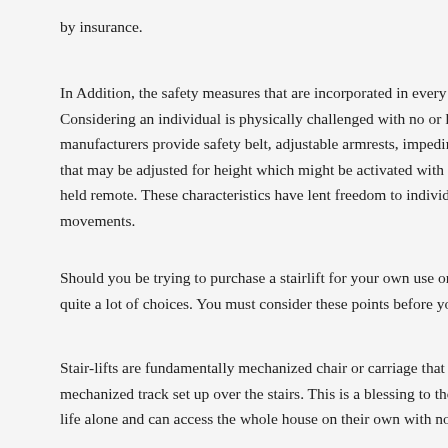by insurance.
In Addition, the safety measures that are incorporated in every stairlift. Considering an individual is physically challenged with no or limited mobility, manufacturers provide safety belt, adjustable armrests, impediments that may be adjusted for height which might be activated with a single hand held remote. These characteristics have lent freedom to individuals movements.
Should you be trying to purchase a stairlift for your own use or for someone else, quite a lot of choices. You must consider these points before you
Stair-lifts are fundamentally mechanized chair or carriage that go along a mechanized track set up over the stairs. This is a blessing to those who life alone and can access the whole house on their own with no